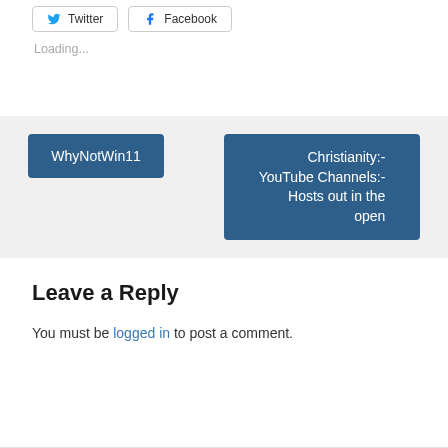[Figure (other): Share buttons for Twitter and Facebook]
Loading...
WhyNotWin11
Christianity:- YouTube Channels:- Hosts out in the open
Leave a Reply
You must be logged in to post a comment.